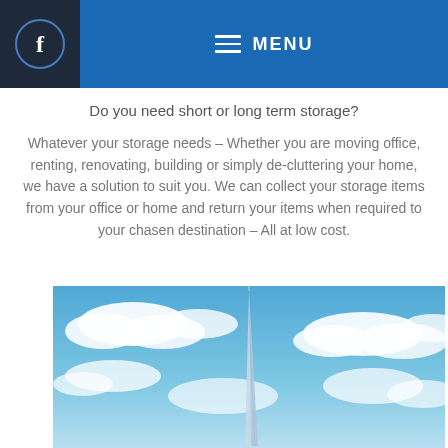f  MENU
Do you need short or long term storage?
Whatever your storage needs – Whether you are moving office, renting, renovating, building or simply de-cluttering your home, we have a solution to suit you. We can collect your storage items from your office or home and return your items when required to your chasen destination – All at low cost.
[Figure (photo): Photo of the Shard skyscraper in London against a bright blue sky with white clouds]